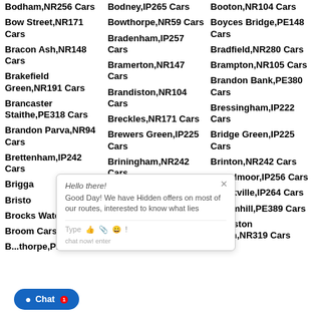Bodham,NR256 Cars
Bodney,IP265 Cars
Booton,NR104 Cars
Bow Street,NR171 Cars
Bowthorpe,NR59 Cars
Boyces Bridge,PE148 Cars
Bracon Ash,NR148 Cars
Bradenham,IP257 Cars
Bradfield,NR280 Cars
Brakefield Green,NR191 Cars
Bramerton,NR147 Cars
Brampton,NR105 Cars
Brancaster Staithe,PE318 Cars
Brandiston,NR104 Cars
Brandon Bank,PE380 Cars
Brandon Parva,NR94 Cars
Breckles,NR171 Cars
Bressingham,IP222 Cars
Brettenham,IP242 Cars
Brewers Green,IP225 Cars
Bridge Green,IP225 Cars
Brigga...
Briningham,NR242 Cars
Brinton,NR242 Cars
Bristo...
Broadflash,IP256 Cars
Broadmoor,IP256 Cars
Brocks... Water...
Brooke,NR151 Cars
Brookville,IP264 Cars
Broom... Cars
Broom Green,NR205 Cars
Broomhill,PE389 Cars
B...thorpe,PE316 Cars
Browick,NR189 Cars
Browston Green,NR319 Cars